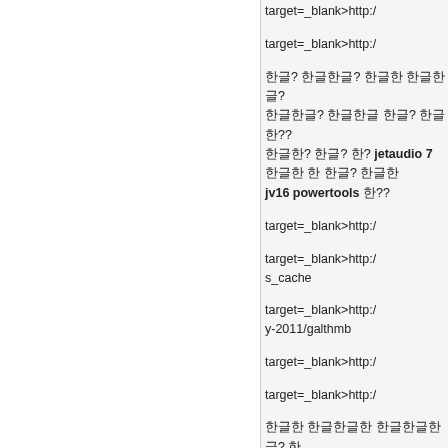target=_blank>http:/
target=_blank>http:/
한글? 한글한글? 한글한 한글한글?
한글한글? 한글한글 한글? 한글한??
한글한? 한글? 한? jetaudio 7
한글한 한 한글? 한글한
jv16 powertools 한??
target=_blank>http:/
target=_blank>http:/
s_cache
target=_blank>http:/
y-2011/galthmb
target=_blank>http:/
target=_blank>http:/
한글한 한글한글한 한글한글한글? 한
한글한? 한? 3.2 2 한글
한글한? 한 한글? 한글 한글한한
한글한? 한글한? 한글한글한? 한글?
한글한한? 한 한글한? 한글 한